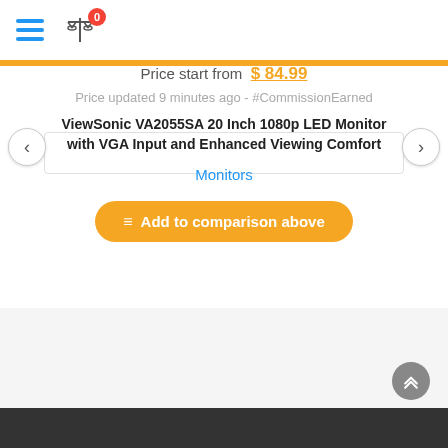Menu | Compare (0)
Price start from  $ 84.99
Price updated 9 minutes ago - #CommissionEarned
ViewSonic VA2055SA 20 Inch 1080p LED Monitor with VGA Input and Enhanced Viewing Comfort
Monitors
Add to comparison above